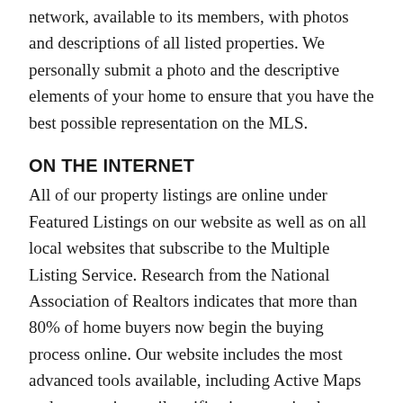network, available to its members, with photos and descriptions of all listed properties. We personally submit a photo and the descriptive elements of your home to ensure that you have the best possible representation on the MLS.
ON THE INTERNET
All of our property listings are online under Featured Listings on our website as well as on all local websites that subscribe to the Multiple Listing Service. Research from the National Association of Realtors indicates that more than 80% of home buyers now begin the buying process online. Our website includes the most advanced tools available, including Active Maps and automatic email notifications, to give buyers the most reason to keep coming back.
FOR SALE SIGNS AND BROCHURE BOXES
Immediately our distinctive’For Sale’ sign is placed on your